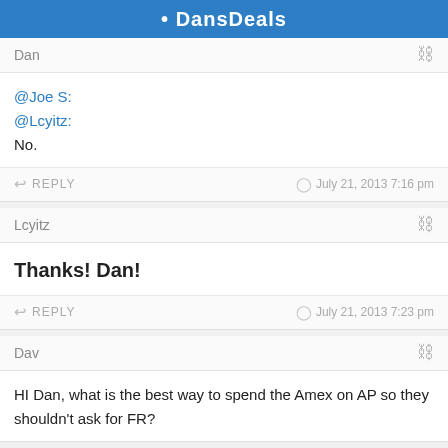DansDeals
Dan
@Joe S:
@Lcyitz:
No.
REPLY   July 21, 2013 7:16 pm
Lcyitz
Thanks! Dan!
REPLY   July 21, 2013 7:23 pm
Dav
HI Dan, what is the best way to spend the Amex on AP so they shouldn't ask for FR?